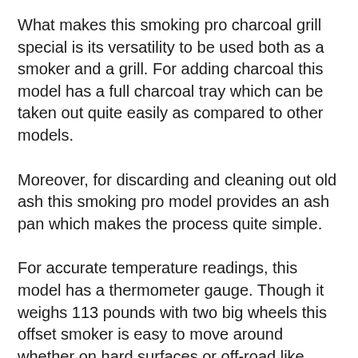What makes this smoking pro charcoal grill special is its versatility to be used both as a smoker and a grill. For adding charcoal this model has a full charcoal tray which can be taken out quite easily as compared to other models.
Moreover, for discarding and cleaning out old ash this smoking pro model provides an ash pan which makes the process quite simple.
For accurate temperature readings, this model has a thermometer gauge. Though it weighs 113 pounds with two big wheels this offset smoker is easy to move around whether on hard surfaces or off-road like grass or dirt.